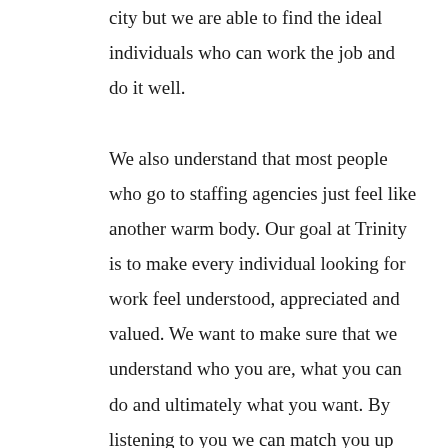city but we are able to find the ideal individuals who can work the job and do it well.

We also understand that most people who go to staffing agencies just feel like another warm body. Our goal at Trinity is to make every individual looking for work feel understood, appreciated and valued. We want to make sure that we understand who you are, what you can do and ultimately what you want. By listening to you we can match you up with one of our companies who hired us and get you that job that you are looking for. We are ready to send you to work here at Trinity Employment.